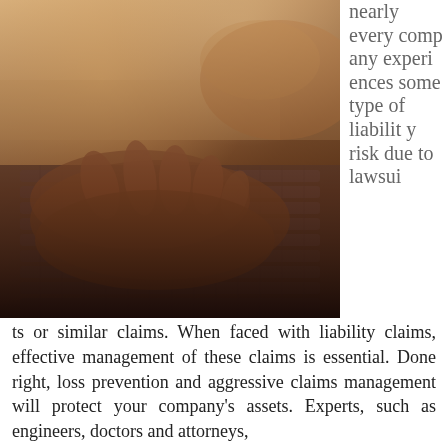[Figure (photo): Close-up photo of hands typing on a laptop keyboard, with a warm golden-orange light in the background. One hand holds a pen. The image has a warm, slightly blurred bokeh background.]
nearly every company experiences some type of liability risk due to lawsuits or similar claims. When faced with liability claims, effective management of these claims is essential. Done right, loss prevention and aggressive claims management will protect your company's assets. Experts, such as engineers, doctors and attorneys,